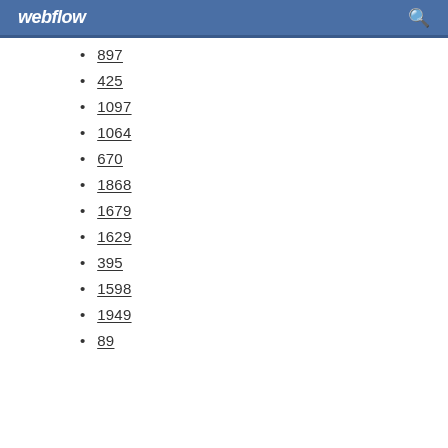webflow
897
425
1097
1064
670
1868
1679
1629
395
1598
1949
89